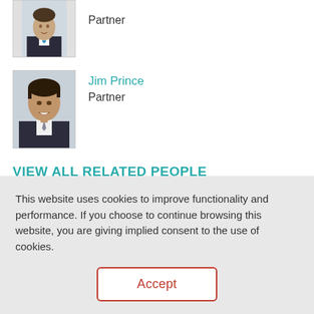[Figure (photo): Professional headshot of a man in a suit with a blue tie, partially cropped at top]
Partner
[Figure (photo): Professional headshot of Jim Prince, a man in a dark suit with a tie, smiling]
Jim Prince
Partner
VIEW ALL RELATED PEOPLE
This website uses cookies to improve functionality and performance. If you choose to continue browsing this website, you are giving implied consent to the use of cookies.